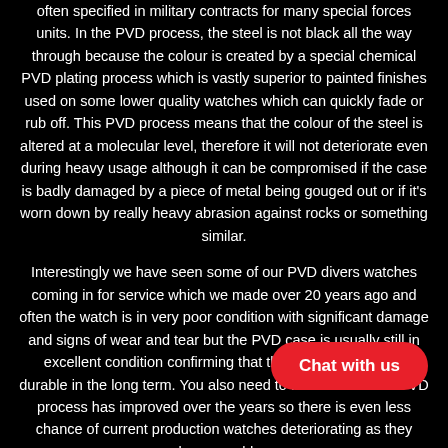often specified in military contracts for many special forces units. In the PVD process, the steel is not black all the way through because the colour is created by a special chemical PVD plating process which is vastly superior to painted finishes used on some lower quality watches which can quickly fade or rub off. This PVD process means that the colour of the steel is altered at a molecular level, therefore it will not deteriorate even during heavy usage although it can be compromised if the case is badly damaged by a piece of metal being gouged out or if it's worn down by really heavy abrasion against rocks or something similar.
Interestingly we have seen some of our PVD divers watches coming in for service which we made over 20 years ago and often the watch is in very poor condition with significant damage and signs of wear and tear but the PVD case is usually still in excellent condition confirming that the PVD finish is very durable in the long term. You also need to factor in that the PVD process has improved over the years so there is even less chance of current production watches deteriorating as they become older.
If you are looking for a solid black stainless steel watch that is both discreet and has a high water resistance rating then this model is probably ideal.